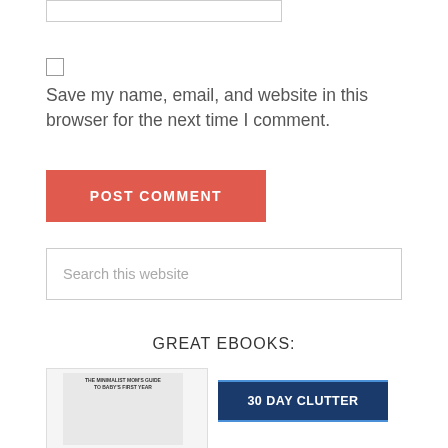[Figure (screenshot): A text input field/form box at the top of the page]
[Figure (screenshot): A checkbox (unchecked) form element]
Save my name, email, and website in this browser for the next time I comment.
[Figure (screenshot): A red POST COMMENT button]
[Figure (screenshot): A search input box with placeholder text 'Search this website']
GREAT EBOOKS:
[Figure (illustration): Two ebook covers: 'The Minimalist Mom's Guide to Baby's First Year' and '30 Day Clutter' book cover]